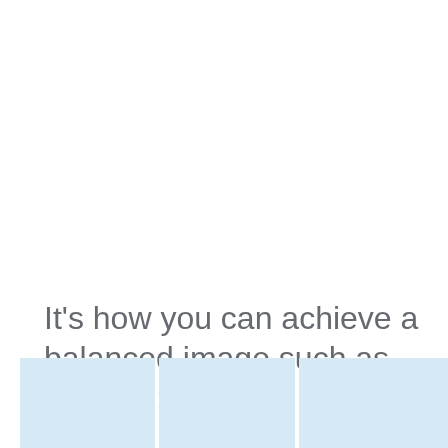It's how you can achieve a balanced image such as this one:
[Figure (photo): Three light blue placeholder image panels shown at the bottom of the page, partially cropped]